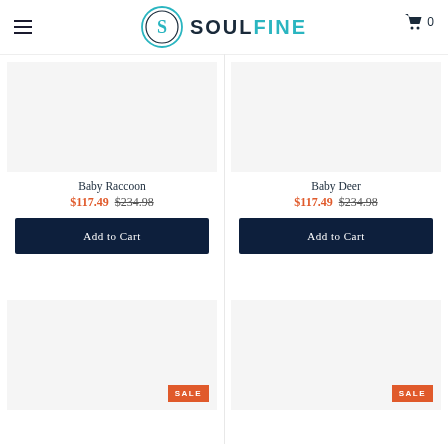SOULFINE — navigation header with hamburger menu and cart (0 items)
Baby Raccoon
$117.49  $234.98
Add to Cart
Baby Deer
$117.49  $234.98
Add to Cart
SALE
SALE